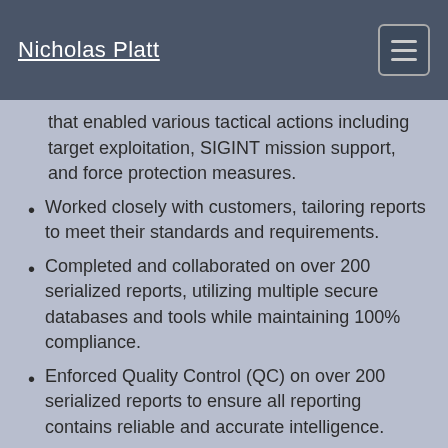Nicholas Platt
that enabled various tactical actions including target exploitation, SIGINT mission support, and force protection measures.
Worked closely with customers, tailoring reports to meet their standards and requirements.
Completed and collaborated on over 200 serialized reports, utilizing multiple secure databases and tools while maintaining 100% compliance.
Enforced Quality Control (QC) on over 200 serialized reports to ensure all reporting contains reliable and accurate intelligence.
Worked directly with many outside organizations in the Intelligence Community (IC), maintaining constant open contact and facilitating work to their needs/requests.